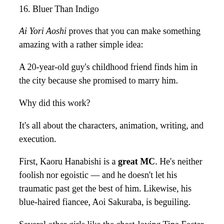16. Bluer Than Indigo
Ai Yori Aoshi proves that you can make something amazing with a rather simple idea:
A 20-year-old guy's childhood friend finds him in the city because she promised to marry him.
Why did this work?
It's all about the characters, animation, writing, and execution.
First, Kaoru Hanabishi is a great MC. He's neither foolish nor egoistic — and he doesn't let his traumatic past get the best of him. Likewise, his blue-haired fiancee, Aoi Sakuraba, is beguiling.
Several other girls like the chest-loving Tina Foster and